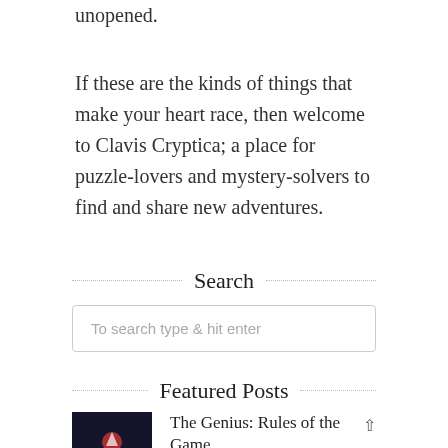unopened.
If these are the kinds of things that make your heart race, then welcome to Clavis Cryptica; a place for puzzle-lovers and mystery-solvers to find and share new adventures.
Search
To search type & hit enter
Featured Posts
The Genius: Rules of the Game
December 2, 2013